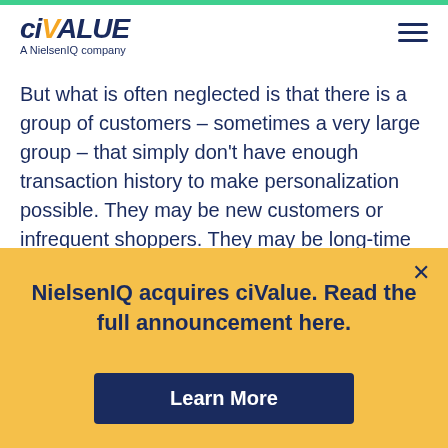ciVALUE — A NielsenIQ company
But what is often neglected is that there is a group of customers – sometimes a very large group – that simply don't have enough transaction history to make personalization possible. They may be new customers or infrequent shoppers. They may be long-time customers who just recently signed up for a loyalty program. Or the retailer may simply be in a vertical where customers visit less frequently. We have recently worked with retailers where a typical customer might shop only once every two months or
NielsenIQ acquires ciValue. Read the full announcement here.
Learn More